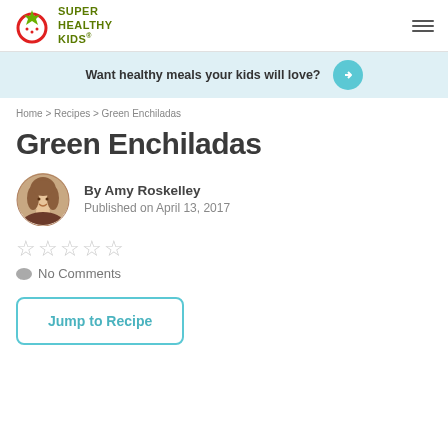SUPER HEALTHY KIDS
Want healthy meals your kids will love?
Home > Recipes > Green Enchiladas
Green Enchiladas
By Amy Roskelley
Published on April 13, 2017
☆☆☆☆☆
No Comments
Jump to Recipe